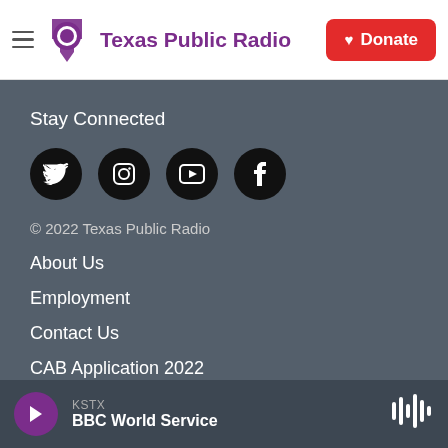Texas Public Radio | Donate
Stay Connected
[Figure (other): Social media icons: Twitter, Instagram, YouTube, Facebook]
© 2022 Texas Public Radio
About Us
Employment
Contact Us
CAB Application 2022
KSTX
BBC World Service